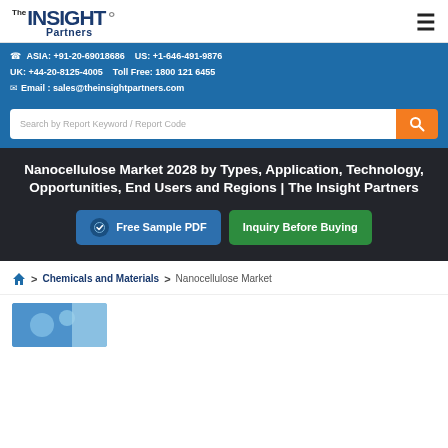The INSIGHT Partners
ASIA: +91-20-69018686   US: +1-646-491-9876   UK: +44-20-8125-4005   Toll Free: 1800 121 6455   Email: sales@theinsightpartners.com
Search by Report Keyword / Report Code
Nanocellulose Market 2028 by Types, Application, Technology, Opportunities, End Users and Regions | The Insight Partners
Free Sample PDF
Inquiry Before Buying
Home > Chemicals and Materials > Nanocellulose Market
[Figure (photo): Nanocellulose market report image thumbnail]